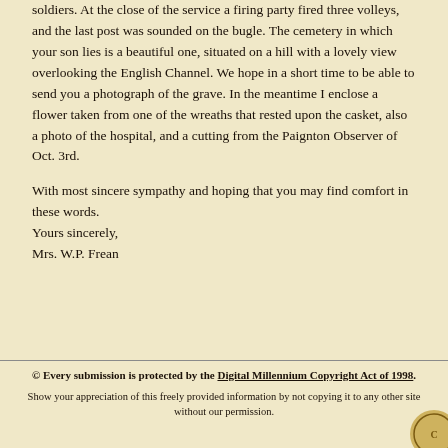soldiers. At the close of the service a firing party fired three volleys, and the last post was sounded on the bugle. The cemetery in which your son lies is a beautiful one, situated on a hill with a lovely view overlooking the English Channel. We hope in a short time to be able to send you a photograph of the grave. In the meantime I enclose a flower taken from one of the wreaths that rested upon the casket, also a photo of the hospital, and a cutting from the Paignton Observer of Oct. 3rd.
With most sincere sympathy and hoping that you may find comfort in these words. Yours sincerely, Mrs. W.P. Frean
© Every submission is protected by the Digital Millennium Copyright Act of 1998. Show your appreciation of this freely provided information by not copying it to any other site without our permission.